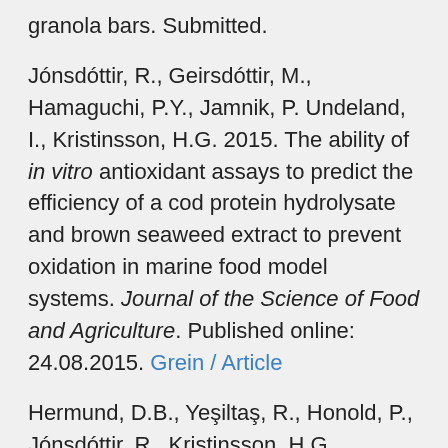granola bars. Submitted.
Jónsdóttir, R., Geirsdóttir, M., Hamaguchi, P.Y., Jamnik, P. Undeland, I., Kristinsson, H.G. 2015. The ability of in vitro antioxidant assays to predict the efficiency of a cod protein hydrolysate and brown seaweed extract to prevent oxidation in marine food model systems. Journal of the Science of Food and Agriculture. Published online: 24.08.2015. Grein / Article
Hermund, D.B., Yeşiltaş, R., Honold, P., Jónsdóttir, R., Kristinsson, H.G., Jacobsen, C. 2015. Characterisation and antioxidant evaluation of Icelandic F. vesiculosus extracts in vitro and in fish-oil-enriched milk and mayonnaise. Journal of